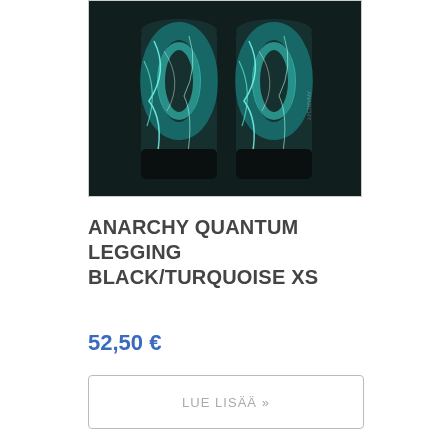[Figure (photo): Product photo of Anarchy Quantum leggings in black and turquoise with electric lightning pattern, showing two views side by side]
ANARCHY QUANTUM LEGGING BLACK/TURQUOISE XS
52,50 €
LUE LISÄÄ »